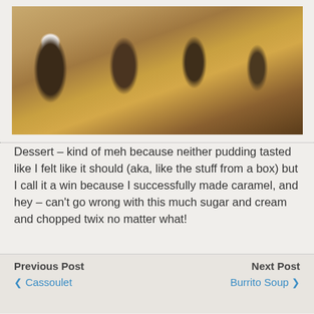[Figure (photo): Photo of several dessert glasses/jars filled with layered pudding and caramel, topped with whipped cream, arranged on a wooden surface/shelf.]
Dessert – kind of meh because neither pudding tasted like I felt like it should (aka, like the stuff from a box) but I call it a win because I successfully made caramel, and hey – can't go wrong with this much sugar and cream and chopped twix no matter what!
Previous Post ❮ Cassoulet   Next Post Burrito Soup ❯